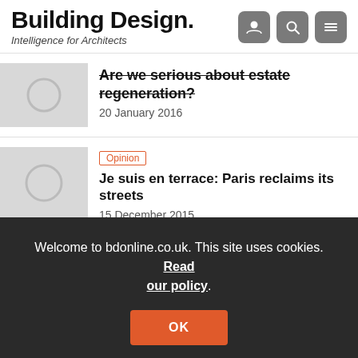Building Design. Intelligence for Architects
Are we serious about estate regeneration?
20 January 2016
Opinion
Je suis en terrace: Paris reclaims its streets
15 December 2015
Welcome to bdonline.co.uk. This site uses cookies. Read our policy.
Opinion